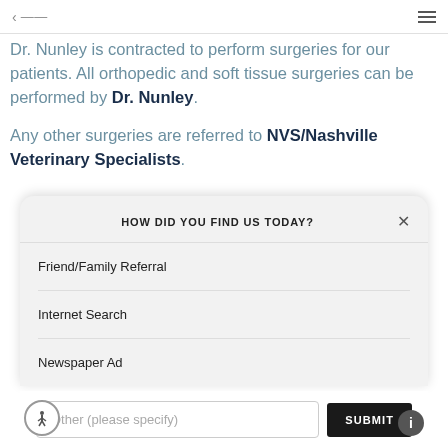navigation bar with back arrow and menu icon
Dr. Nunley is contracted to perform surgeries for our patients. All orthopedic and soft tissue surgeries can be performed by Dr. Nunley.
Any other surgeries are referred to NVS/Nashville Veterinary Specialists.
HOW DID YOU FIND US TODAY?
Friend/Family Referral
Internet Search
Newspaper Ad